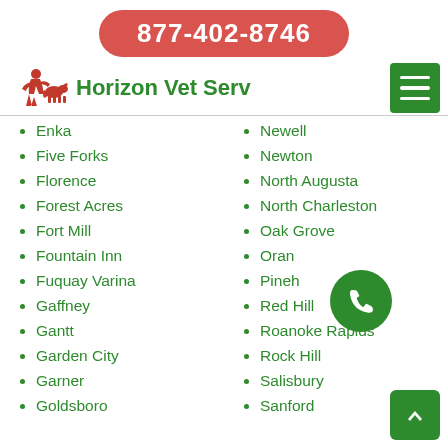877-402-8746
Horizon Vet Serv
Enka
Five Forks
Florence
Forest Acres
Fort Mill
Fountain Inn
Fuquay Varina
Gaffney
Gantt
Garden City
Garner
Goldsboro
Newell
Newton
North Augusta
North Charleston
Oak Grove
Orange
Pinehurst
Red Hill
Roanoke Rapids
Rock Hill
Salisbury
Sanford